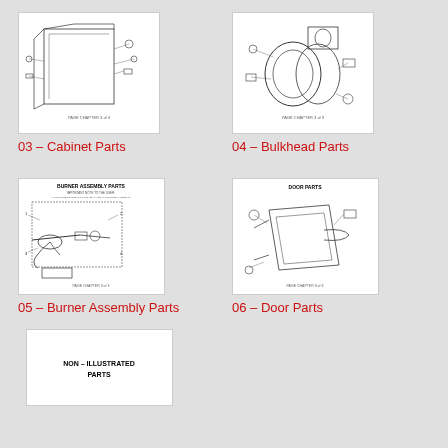[Figure (engineering-diagram): 03 - Cabinet Parts exploded diagram thumbnail]
03 - Cabinet Parts
[Figure (engineering-diagram): 04 - Bulkhead Parts exploded diagram thumbnail]
04 - Bulkhead Parts
[Figure (engineering-diagram): 05 - Burner Assembly Parts diagram with BURNER ASSEMBLY PARTS label]
05 - Burner Assembly Parts
[Figure (engineering-diagram): 06 - Door Parts diagram with DOOR PARTS label]
06 - Door Parts
[Figure (engineering-diagram): NON - ILLUSTRATED PARTS page thumbnail]
NON – ILLUSTRATED PARTS